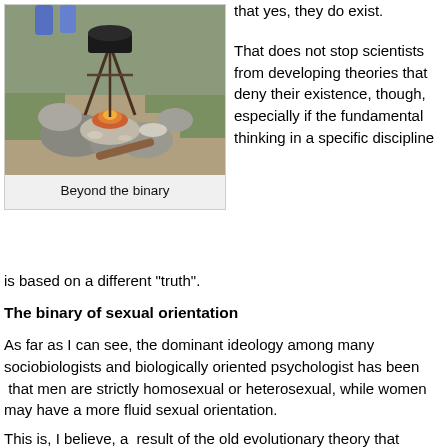[Figure (photo): Outdoor campfire with rocks and a pot hanging over flames, people sitting in background on grass]
Beyond the binary
that yes, they do exist.
That does not stop scientists from developing theories that deny their existence, though, especially if the fundamental thinking in a specific discipline is based on a different "truth".
The binary of sexual orientation
As far as I can see, the dominant ideology among many sociobiologists and biologically oriented psychologist has been  that men are strictly homosexual or heterosexual, while women may have a more fluid sexual orientation.
This is, I believe, a  result of the old evolutionary theory that